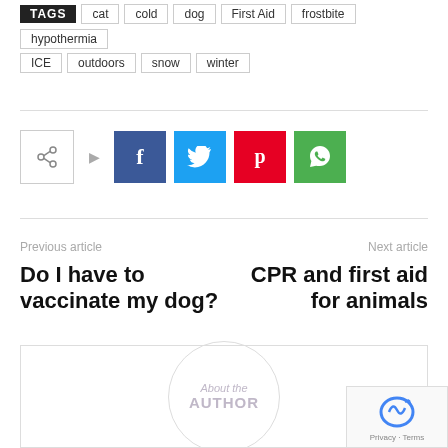TAGS  cat  cold  dog  First Aid  frostbite  hypothermia
ICE  outdoors  snow  winter
[Figure (infographic): Social share buttons: share icon box, Facebook (blue), Twitter (cyan), Pinterest (red), WhatsApp (green)]
Previous article
Next article
Do I have to vaccinate my dog?
CPR and first aid for animals
[Figure (illustration): About the AUTHOR circular badge placeholder inside a bordered box]
[Figure (other): reCAPTCHA widget overlay with Privacy - Terms text]